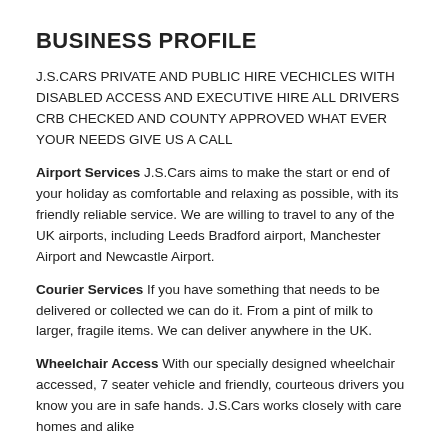BUSINESS PROFILE
J.S.CARS PRIVATE AND PUBLIC HIRE VECHICLES WITH DISABLED ACCESS AND EXECUTIVE HIRE ALL DRIVERS CRB CHECKED AND COUNTY APPROVED WHAT EVER YOUR NEEDS GIVE US A CALL
Airport Services J.S.Cars aims to make the start or end of your holiday as comfortable and relaxing as possible, with its friendly reliable service. We are willing to travel to any of the UK airports, including Leeds Bradford airport, Manchester Airport and Newcastle Airport.
Courier Services If you have something that needs to be delivered or collected we can do it. From a pint of milk to larger, fragile items. We can deliver anywhere in the UK.
Wheelchair Access With our specially designed wheelchair accessed, 7 seater vehicle and friendly, courteous drivers you know you are in safe hands. J.S.Cars works closely with care homes and alike